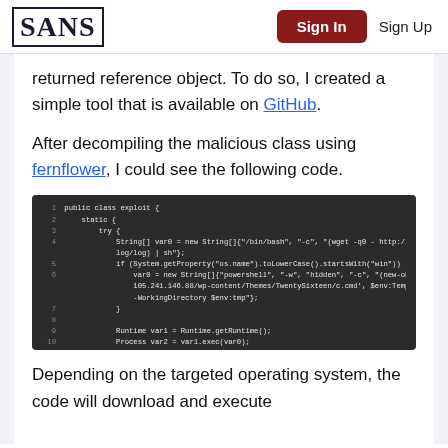SANS | Sign In | Sign Up
returned reference object. To do so, I created a simple tool that is available on GitHub.
After decompiling the malicious class using fernflower, I could see the following code.
[Figure (screenshot): Dark-themed code editor screenshot showing decompiled Java exploit class with malicious code including bash and PowerShell commands]
Depending on the targeted operating system, the code will download and execute